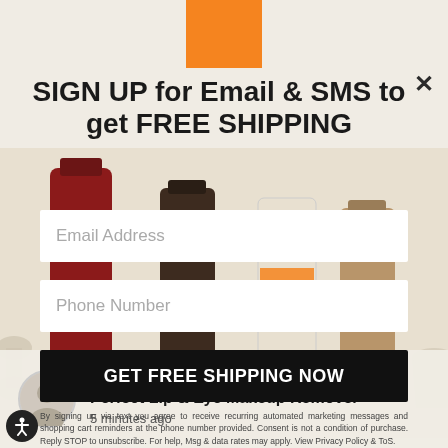[Figure (screenshot): Orange brand rectangle logo at top center of page]
SIGN UP for Email & SMS to get FREE SHIPPING
Email Address
Phone Number
GET FREE SHIPPING NOW
By signing up via text you agree to receive recurring automated marketing messages and shopping cart reminders at the phone number provided. Consent is not a condition of purchase. Reply STOP to unsubscribe. For help, Msg & data rates may apply. View Privacy Policy & ToS.
Debra in Utah, purchased a Perfect Lip & Eye Makeup Remover 5 minutes ago